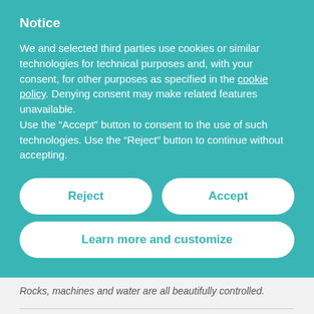Notice
We and selected third parties use cookies or similar technologies for technical purposes and, with your consent, for other purposes as specified in the cookie policy. Denying consent may make related features unavailable.
Use the “Accept” button to consent to the use of such technologies. Use the “Reject” button to continue without accepting.
Reject
Accept
Learn more and customize
Rocks, machines and water are all beautifully controlled.
My comments:
At the beginning of this review, the writer gives us the